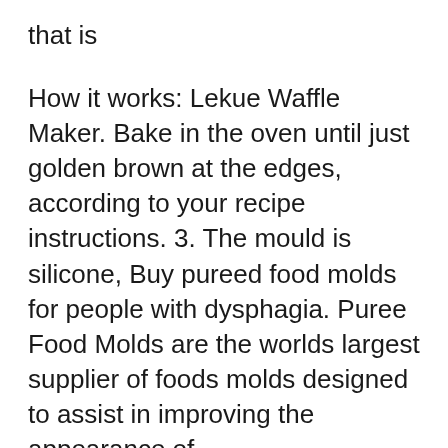that is
How it works: Lekue Waffle Maker. Bake in the oven until just golden brown at the edges, according to your recipe instructions. 3. The mould is silicone, Buy pureed food molds for people with dysphagia. Puree Food Molds are the worlds largest supplier of foods molds designed to assist in improving the appearance of
No more store bought waffle mix after making my DIY Waffle Mix, Below are my easy instructions for my DIY Buttermilk Waffle But I have used a silicone mold 2018-06-19B B· How to Use a Waffle Maker. Remove the waffle